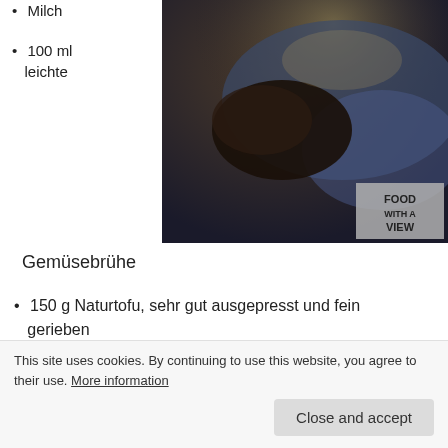Milch
100 ml leichte
[Figure (photo): Dark moody food photo showing what appears to be chocolate or dark food items on a blue surface, with a watermark reading FOOD WITH A VIEW in the bottom right corner.]
Gemüsebrühe
150 g Naturtofu, sehr gut ausgepresst und fein gerieben
100 g Ziegen-Hartkäse oder alter Gouda, fein gerieben
1 EL Estragon, fein gehackt
This site uses cookies. By continuing to use this website, you agree to their use. More information
Close and accept